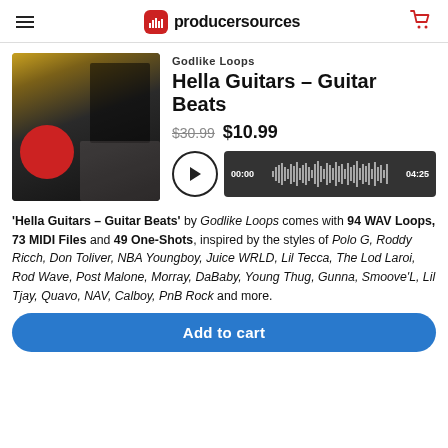producersources
[Figure (photo): Product image for Hella Guitars - Guitar Beats sample pack, showing guitar-related imagery with dark background and red circular element]
Godlike Loops
Hella Guitars – Guitar Beats
$30.99  $10.99
[Figure (other): Audio player with play button and waveform visualization showing 00:00 and 04:25 timestamps]
'Hella Guitars – Guitar Beats' by Godlike Loops comes with 94 WAV Loops, 73 MIDI Files and 49 One-Shots, inspired by the styles of Polo G, Roddy Ricch, Don Toliver, NBA Youngboy, Juice WRLD, Lil Tecca, The Lod Laroi, Rod Wave, Post Malone, Morray, DaBaby, Young Thug, Gunna, Smoove'L, Lil Tjay, Quavo, NAV, Calboy, PnB Rock and more.
Add to cart